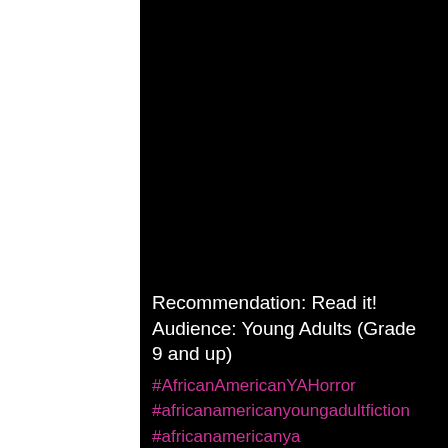Recommendation: Read it! Audience: Young Adults (Grade 9 and up)
#AfricanAmericanYAHorror #africanamericanyoungadultfiction #africanamericanya #Africanamerican #africanamerican #africanamericanfiction #africanamericanwomen #africanamericanyoungadult #africanamericanFantasyYA #blackwomen #yafiction #ya #yabooks #yafantasy #yalit #youngadultfiction